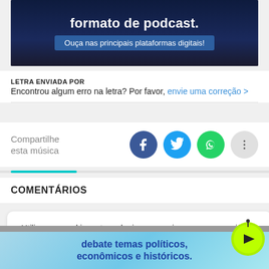[Figure (screenshot): Dark blue banner with white bold text 'formato de podcast.' and a blue button 'Ouça nas principais plataformas digitais!']
LETRA ENVIADA POR
Encontrou algum erro na letra? Por favor, envie uma correção >
Compartilhe esta música
[Figure (infographic): Social share icons: Facebook (dark blue), Twitter (light blue), WhatsApp (green), More options (gray dots)]
COMENTÁRIOS
Utilizamos cookies e tecnologia para aprimorar sua experiência de navegação de acordo com o Aviso de Privacidade.
[Figure (infographic): Green play button with antenna/signal icon overlay on cookie notice]
[Figure (screenshot): Bottom banner with light blue gradient background and dark blue bold text 'debate temas políticos, econômicos e históricos.']